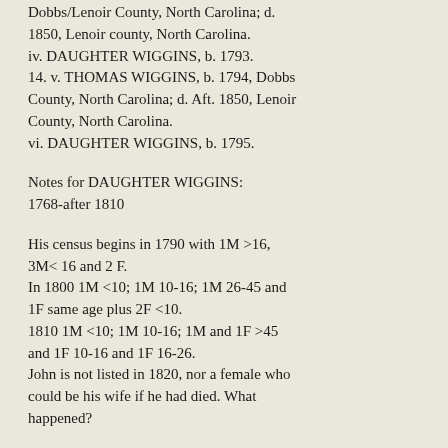Dobbs/Lenoir County, North Carolina; d. 1850, Lenoir county, North Carolina.
iv. DAUGHTER WIGGINS, b. 1793.
14. v. THOMAS WIGGINS, b. 1794, Dobbs County, North Carolina; d. Aft. 1850, Lenoir County, North Carolina.
vi. DAUGHTER WIGGINS, b. 1795.
Notes for DAUGHTER WIGGINS:
1768-after 1810
His census begins in 1790 with 1M >16, 3M< 16 and 2 F.
In 1800 1M <10; 1M 10-16; 1M 26-45 and 1F same age plus 2F <10.
1810 1M <10; 1M 10-16; 1M and 1F >45 and 1F 10-16 and 1F 16-26.
John is not listed in 1820, nor a female who could be his wife if he had died. What happened?